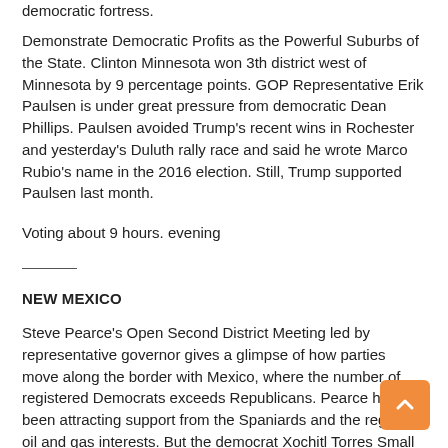democratic fortress.
Demonstrate Democratic Profits as the Powerful Suburbs of the State. Clinton Minnesota won 3th district west of Minnesota by 9 percentage points. GOP Representative Erik Paulsen is under great pressure from democratic Dean Phillips. Paulsen avoided Trump's recent wins in Rochester and yesterday's Duluth rally race and said he wrote Marco Rubio's name in the 2016 election. Still, Trump supported Paulsen last month.
Voting about 9 hours. evening
NEW MEXICO
Steve Pearce's Open Second District Meeting led by representative governor gives a glimpse of how parties move along the border with Mexico, where the number of registered Democrats exceeds Republicans. Pearce has been attracting support from the Spaniards and the region's oil and gas interests. But the democrat Xochitl Torres Small and GOP opponents Yvette Herrell competed with hot hour